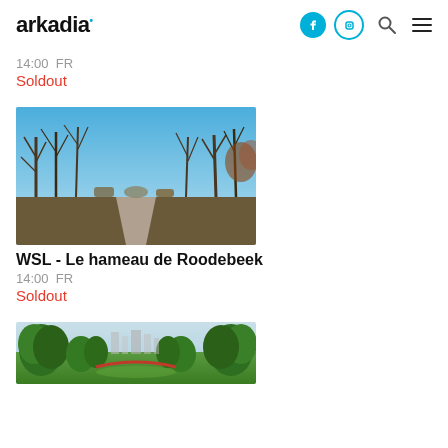arkadia
14:00  FR
Soldout
[Figure (photo): A park path flanked by bare winter trees with blue sky above, leading into the distance. Dry grass and shrubs on either side.]
WSL - Le hameau de Roodebeek
14:00  FR
Soldout
[Figure (photo): A green park scene with lush trees and a footbridge visible in the background, under a partly cloudy sky.]